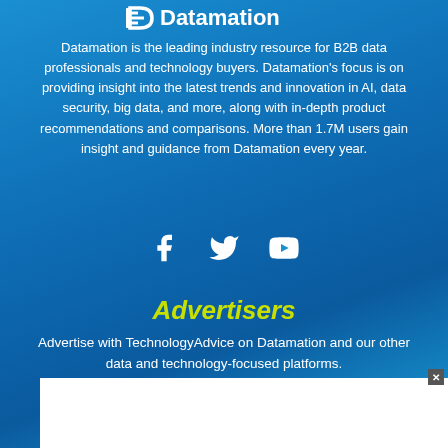[Figure (logo): Datamation logo with stylized D icon and white text]
Datamation is the leading industry resource for B2B data professionals and technology buyers. Datamation’s focus is on providing insight into the latest trends and innovation in AI, data security, big data, and more, along with in-depth product recommendations and comparisons. More than 1.7M users gain insight and guidance from Datamation every year.
[Figure (illustration): Social media icons: Facebook, Twitter, YouTube]
Advertisers
Advertise with TechnologyAdvice on Datamation and our other data and technology-focused platforms.
[Figure (other): Advertise with Us button (yellow/green rounded button with arrow)]
[Figure (other): White advertisement overlay box with close (x) button]